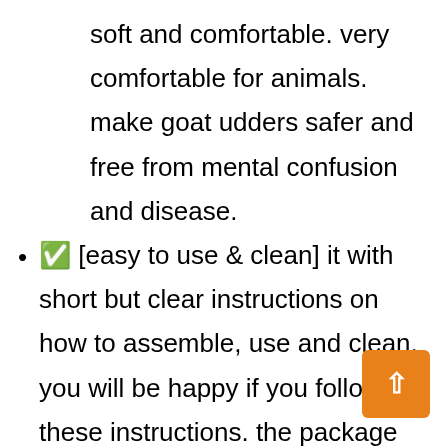soft and comfortable. very comfortable for animals. make goat udders safer and free from mental confusion and disease.
✅ [easy to use & clean] it with short but clear instructions on how to assemble, use and clean, you will be happy if you follow these instructions. the package also contains 2 cleaning brushes, which can clean the hose and the milk cup more effectively, and will stop automatically when the milk is full